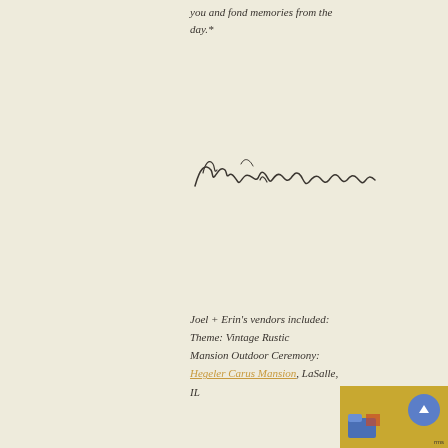you and fond memories from the day.*
[Figure (illustration): Cursive handwritten signature in dark ink on cream background, reading approximately 'Ryan + Sarah' or similar couple's names]
Joel + Erin's vendors included:
Theme: Vintage Rustic
Mansion Outdoor Ceremony:
Hegeler Carus Mansion, LaSalle, IL